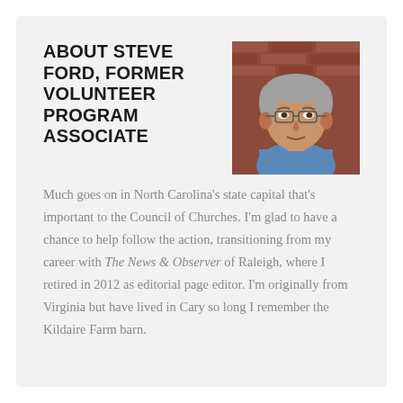ABOUT STEVE FORD, FORMER VOLUNTEER PROGRAM ASSOCIATE
[Figure (photo): Headshot of an older man with grey hair wearing a blue shirt, standing in front of a brick wall background.]
Much goes on in North Carolina's state capital that's important to the Council of Churches. I'm glad to have a chance to help follow the action, transitioning from my career with The News & Observer of Raleigh, where I retired in 2012 as editorial page editor. I'm originally from Virginia but have lived in Cary so long I remember the Kildaire Farm barn.